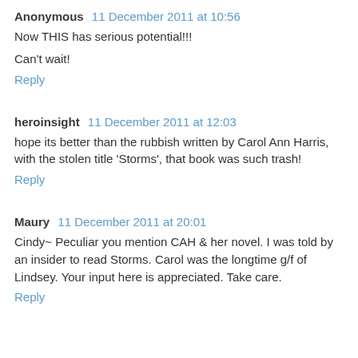Anonymous  11 December 2011 at 10:56
Now THIS has serious potential!!!
Can't wait!
Reply
heroinsight  11 December 2011 at 12:03
hope its better than the rubbish written by Carol Ann Harris, with the stolen title 'Storms', that book was such trash!
Reply
Maury  11 December 2011 at 20:01
Cindy~ Peculiar you mention CAH & her novel. I was told by an insider to read Storms. Carol was the longtime g/f of Lindsey. Your input here is appreciated. Take care.
Reply